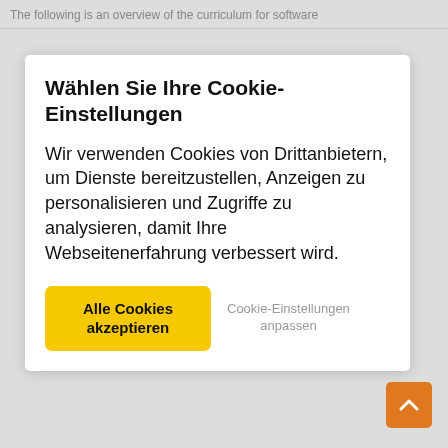The following is an overview of the curriculum for software
Wählen Sie Ihre Cookie-Einstellungen
Wir verwenden Cookies von Drittanbietern, um Dienste bereitzustellen, Anzeigen zu personalisieren und Zugriffe zu analysieren, damit Ihre Webseitenerfahrung verbessert wird.
Alle Cookies akzeptieren
Cookie-Einstellungen anpassen